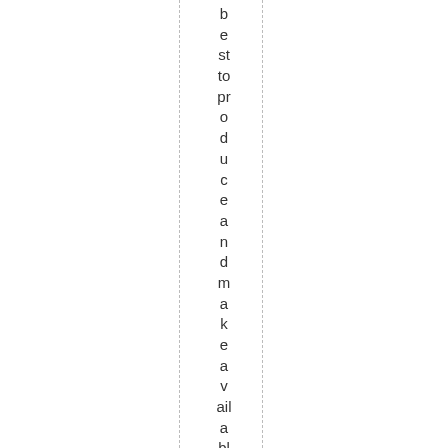b
e
st
to
pr
o
d
u
c
e
a
n
d
m
a
k
e
a
v
ail
a
bl
e
a
g
o
o
d
lif
e